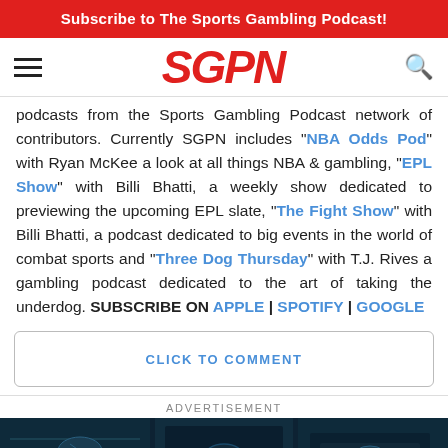Subscribe to The Sports Gambling Podcast!
[Figure (logo): SGPN logo in red italic bold text with hamburger menu icon on left and search icon on right]
podcasts from the Sports Gambling Podcast network of contributors. Currently SGPN includes "NBA Odds Pod" with Ryan McKee a look at all things NBA & gambling, "EPL Show" with Billi Bhatti, a weekly show dedicated to previewing the upcoming EPL slate, "The Fight Show" with Billi Bhatti, a podcast dedicated to big events in the world of combat sports and "Three Dog Thursday" with T.J. Rives a gambling podcast dedicated to the art of taking the underdog. SUBSCRIBE ON APPLE | SPOTIFY | GOOGLE
CLICK TO COMMENT
ADVERTISEMENT
[Figure (photo): Dark teal-toned advertisement image showing what appears to be sports memorabilia display cases with helmets and balls]